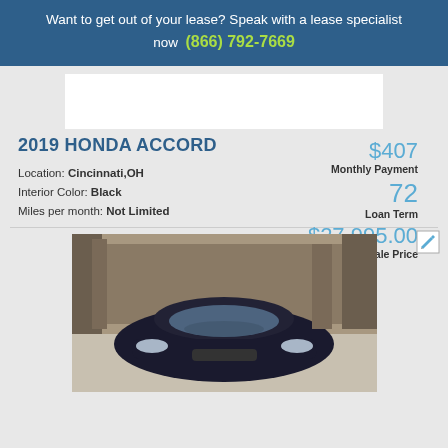Want to get out of your lease? Speak with a lease specialist now (866) 792-7669
[Figure (photo): White rectangular area (top car image placeholder)]
2019 HONDA ACCORD
Location: Cincinnati,OH
Interior Color: Black
Miles per month: Not Limited
$407 Monthly Payment
72 Loan Term
$27,995.00 Sale Price
[Figure (photo): Photograph of a dark-colored Honda Accord viewed from the front, parked on a road with bare trees in the background.]